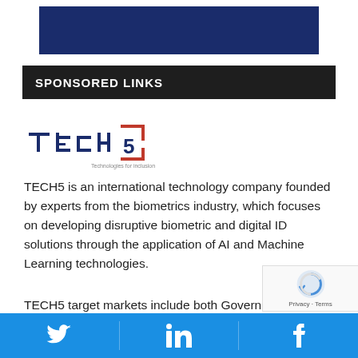[Figure (other): Dark blue banner at top of page, partially cropped]
SPONSORED LINKS
[Figure (logo): TECH5 logo - Technologies for inclusion]
TECH5 is an international technology company founded by experts from the biometrics industry, which focuses on developing disruptive biometric and digital ID solutions through the application of AI and Machine Learning technologies.
TECH5 target markets include both Government and Private sectors with products powering Civil ID, Dig... as well as authentication solutions that deliver ide...
[Figure (other): Social media share bar with Twitter, LinkedIn, and Facebook icons on blue background]